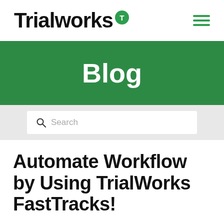Trialworks T (logo) — navigation bar with hamburger menu
Blog
Search
Automate Workflow by Using TrialWorks FastTracks!